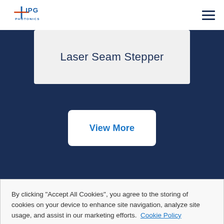IPG Photonics
Laser Seam Stepper
View More
By clicking “Accept All Cookies”, you agree to the storing of cookies on your device to enhance site navigation, analyze site usage, and assist in our marketing efforts. Cookie Policy
Cookies Settings
Accept All Cookies